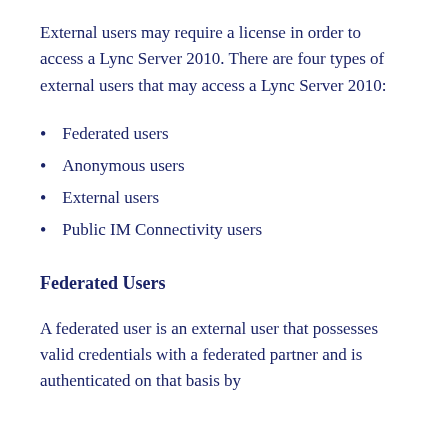External users may require a license in order to access a Lync Server 2010. There are four types of external users that may access a Lync Server 2010:
Federated users
Anonymous users
External users
Public IM Connectivity users
Federated Users
A federated user is an external user that possesses valid credentials with a federated partner and is authenticated on that basis by